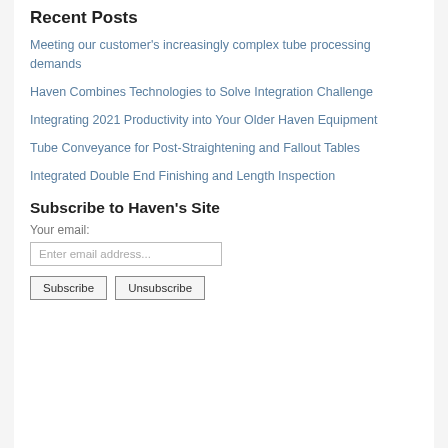Recent Posts
Meeting our customer's increasingly complex tube processing demands
Haven Combines Technologies to Solve Integration Challenge
Integrating 2021 Productivity into Your Older Haven Equipment
Tube Conveyance for Post-Straightening and Fallout Tables
Integrated Double End Finishing and Length Inspection
Subscribe to Haven's Site
Your email:
Enter email address...
Subscribe   Unsubscribe